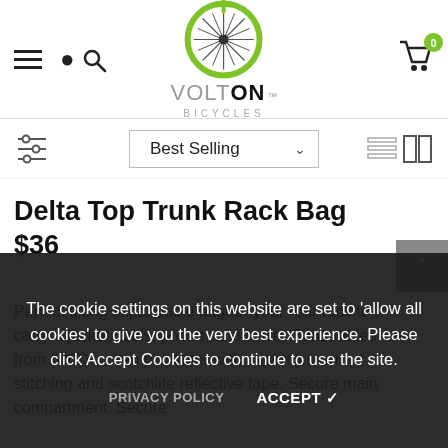[Figure (logo): VoltOn Bicycles logo with green bicycle wheel graphic above the text VOLT ON BICYCLES]
Delta Top Trunk Rack Bag $36
Perfect fitting expandable bag for your rear rack to carry a jacket, tools, phone, and more. Constructed from 600D woven polyester with expertly sewn stitching and scotchlite reflective tape. Secure main compartment. Secure
The cookie settings on this website are set to 'allow all cookies' to give you the very best experience. Please click Accept Cookies to continue to use the site.
PRIVACY POLICY    ACCEPT ✔